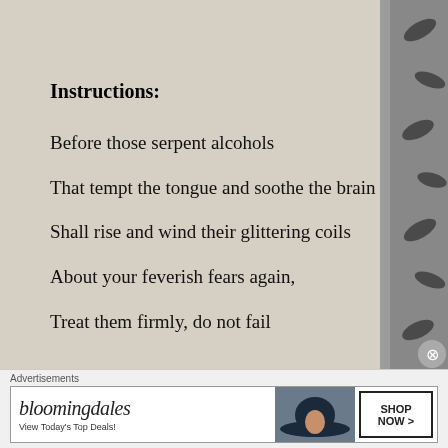Instructions:
Before those serpent alcohols
That tempt the tongue and soothe the brain
Shall rise and wind their glittering coils
About your feverish fears again,
Treat them firmly, do not fail
Advertisements
[Figure (other): Bloomingdales advertisement banner with hat-wearing model, logo, tagline 'View Today's Top Deals!' and 'SHOP NOW >' button]